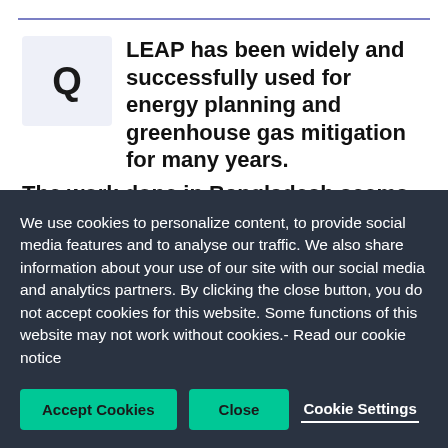LEAP has been widely and successfully used for energy planning and greenhouse gas mitigation for many years. The work done in Bangladesh seems to take things further. How so?
We use cookies to personalize content, to provide social media features and to analyse our traffic. We also share information about your use of our site with our social media and analytics partners. By clicking the close button, you do not accept cookies for this website. Some functions of this website may not work without cookies.- Read our cookie notice